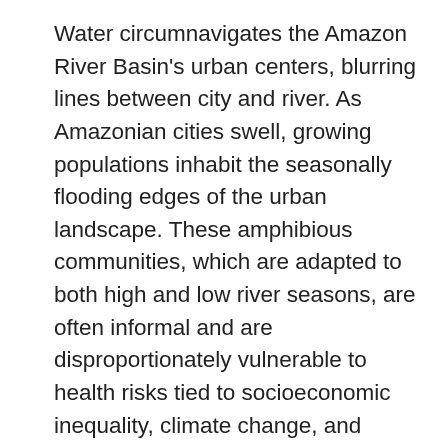Water circumnavigates the Amazon River Basin's urban centers, blurring lines between city and river. As Amazonian cities swell, growing populations inhabit the seasonally flooding edges of the urban landscape. These amphibious communities, which are adapted to both high and low river seasons, are often informal and are disproportionately vulnerable to health risks tied to socioeconomic inequality, climate change, and urban systems. Though Indigenous architecture has designed with Amazonian hydrology for millennia, colonial ideas of the form that urbanization should take eschew amphibiousness. This design research focuses on the amphibious informal community of Claverito, in Iquitos, Peru to examine the built environment as a social